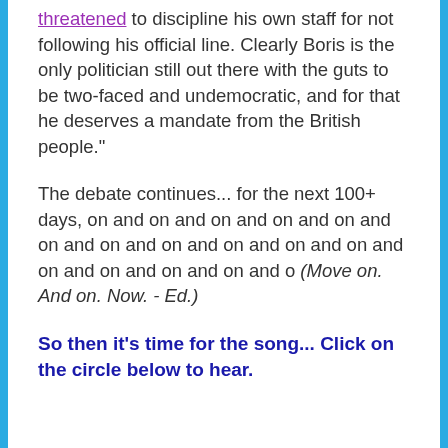threatened to discipline his own staff for not following his official line. Clearly Boris is the only politician still out there with the guts to be two-faced and undemocratic, and for that he deserves a mandate from the British people."
The debate continues... for the next 100+ days, on and on and on and on and on and on and on and on and on and on and on and on and on and on and on and o (Move on. And on. Now. - Ed.)
So then it's time for the song... Click on the circle below to hear.